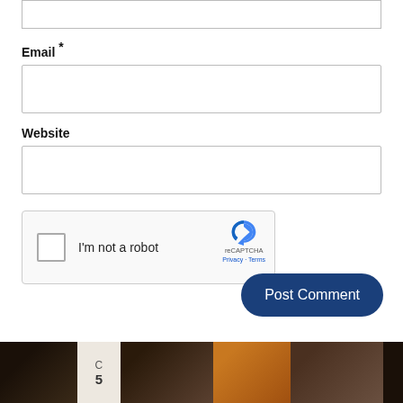Email *
[Figure (screenshot): Empty email text input field with border]
Website
[Figure (screenshot): Empty website text input field with border]
[Figure (other): reCAPTCHA widget with checkbox, 'I'm not a robot' label, reCAPTCHA logo, Privacy and Terms links]
[Figure (other): Post Comment button, dark blue rounded rectangle]
[Figure (photo): Bottom photo strip showing exterior house/door photos in a row]